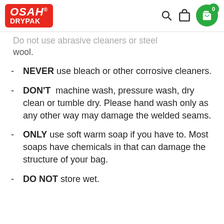OSAH DRYPAK — website header with logo, search, bag, and cart icons
Do not use abrasive cleaners or steel wool.
NEVER use bleach or other corrosive cleaners.
DON'T machine wash, pressure wash, dry clean or tumble dry. Please hand wash only as any other way may damage the welded seams.
ONLY use soft warm soap if you have to. Most soaps have chemicals in that can damage the structure of your bag.
DO NOT store wet.